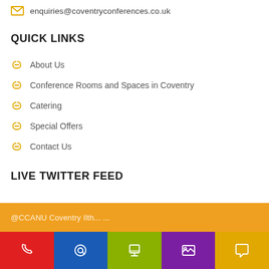enquiries@coventryconferences.co.uk
QUICK LINKS
About Us
Conference Rooms and Spaces in Coventry
Catering
Special Offers
Contact Us
LIVE TWITTER FEED
[Figure (screenshot): Orange Twitter feed bar with partial text visible]
[Figure (infographic): Bottom navigation bar with five coloured buttons: red phone, blue at-sign, green monitor/desk, purple gallery, yellow speech bubble]